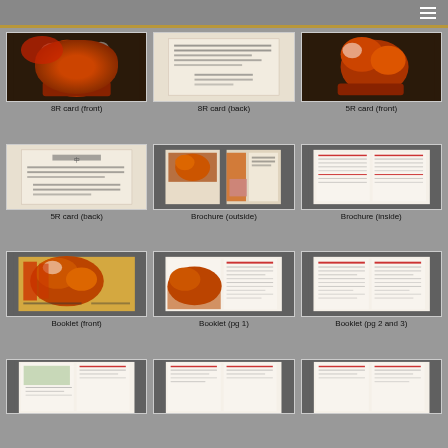[Figure (photo): 8R card front — red and brown decorative figure artwork on dark background]
8R card (front)
[Figure (photo): 8R card back — text card with Chinese characters on light background]
8R card (back)
[Figure (photo): 5R card front — red and brown decorative figure artwork on dark background]
5R card (front)
[Figure (photo): 5R card back — Chinese text card on light background]
5R card (back)
[Figure (photo): Brochure outside — folded brochure showing artwork and text panels]
Brochure (outside)
[Figure (photo): Brochure inside — open brochure showing text and table layout]
Brochure (inside)
[Figure (photo): Booklet front cover — gold/brown artwork with Chinese title text]
Booklet (front)
[Figure (photo): Booklet page 1 — open booklet showing artwork and Chinese text]
Booklet (pg 1)
[Figure (photo): Booklet pages 2 and 3 — open booklet showing text columns in Chinese]
Booklet (pg 2 and 3)
[Figure (photo): Partial view — bottom row left item, booklet open with image]
[Figure (photo): Partial view — bottom row middle item]
[Figure (photo): Partial view — bottom row right item]